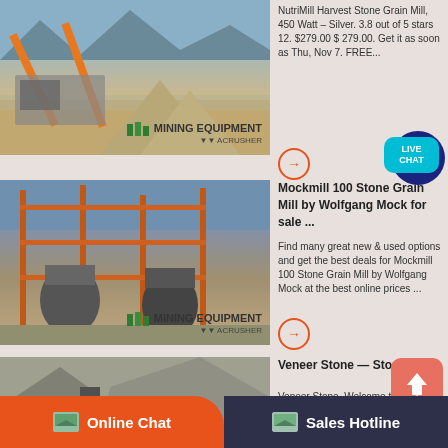[Figure (photo): Mining equipment / stone crusher facility with conveyor belts, mountains in background. Mining Equipment Acrusher logo overlay.]
NutriMill Harvest Stone Grain Mill, 450 Watt – Silver. 3.8 out of 5 stars 12. $279.00 $ 279.00. Get it as soon as Thu, Nov 7. FREE...
[Figure (infographic): Orange circle arrow button (navigation/link button)]
[Figure (infographic): Live Chat bubble icon - dark blue circle with teal rounded rectangle saying LIVE CHAT]
[Figure (photo): Large industrial mining/crushing equipment with orange steel framework and cone crushers. Mining Equipment Acrusher logo overlay.]
Mockmill 100 Stone Grain Mill by Wolfgang Mock for sale ...
Find many great new & used options and get the best deals for Mockmill 100 Stone Grain Mill by Wolfgang Mock at the best online prices ...
[Figure (infographic): Orange circle arrow button (navigation/link button)]
[Figure (photo): Close-up of stone quarry crushing equipment with gray/brown rocks and machinery. Mining Equipment Acrusher logo partially visible.]
Veneer Stone — Stone Mill
Veneer Stone. Welcome to our Natural Veneer page. Most of the flavors below are available in full bed depth or thin veneer. Each stone will...
[Figure (infographic): Salmon/red rounded square with white up arrow icon (scroll to top / upload button)]
Online Chat
Sales Hotline